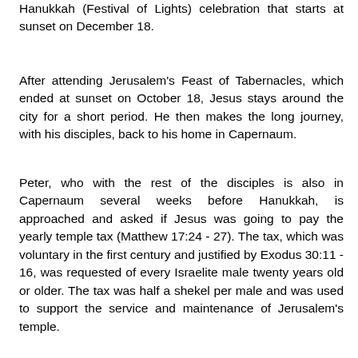Hanukkah (Festival of Lights) celebration that starts at sunset on December 18.
After attending Jerusalem's Feast of Tabernacles, which ended at sunset on October 18, Jesus stays around the city for a short period. He then makes the long journey, with his disciples, back to his home in Capernaum.
Peter, who with the rest of the disciples is also in Capernaum several weeks before Hanukkah, is approached and asked if Jesus was going to pay the yearly temple tax (Matthew 17:24 - 27). The tax, which was voluntary in the first century and justified by Exodus 30:11 - 16, was requested of every Israelite male twenty years old or older. The tax was half a shekel per male and was used to support the service and maintenance of Jerusalem's temple.